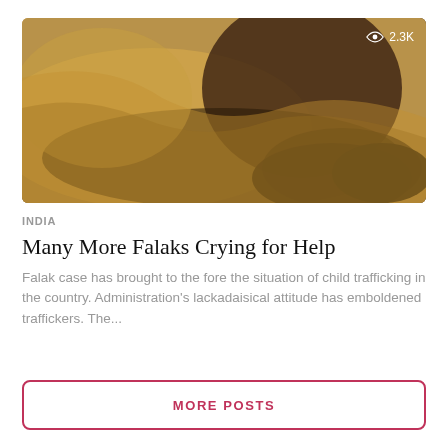[Figure (photo): A woman lying down holding a baby, depicting a scene related to child trafficking in India.]
INDIA
Many More Falaks Crying for Help
Falak case has brought to the fore the situation of child trafficking in the country. Administration's lackadaisical attitude has emboldened traffickers. The...
MORE POSTS